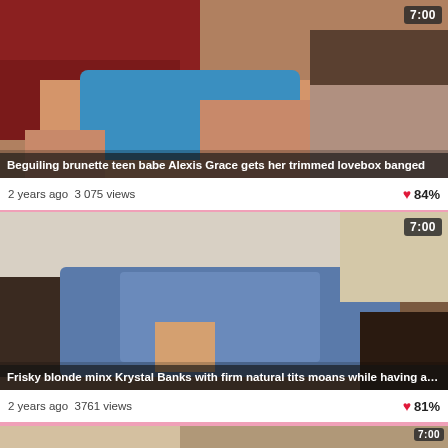[Figure (photo): Video thumbnail: brunette woman in blue top with man]
Beguiling brunette teen babe Alexis Grace gets her trimmed lovebox banged
2 years ago  3 075 views  ❤ 84%
[Figure (photo): Video thumbnail: blonde in jeans on couch]
Frisky blonde minx Krystal Banks with firm natural tits moans while having a cock ride
2 years ago  3761 views  ❤ 81%
[Figure (photo): Partial video thumbnail at bottom of page]